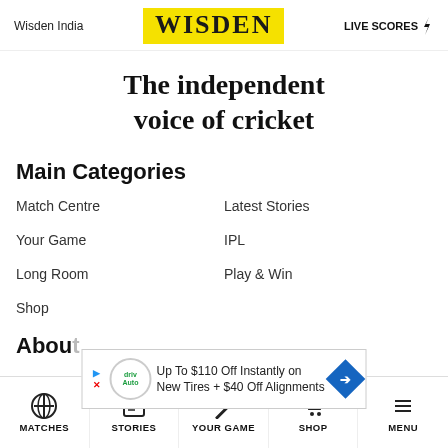Wisden India | WISDEN | LIVE SCORES
The independent voice of cricket
Main Categories
Match Centre
Latest Stories
Your Game
IPL
Long Room
Play & Win
Shop
About
[Figure (screenshot): Advertisement banner: Up To $110 Off Instantly on New Tires + $40 Off Alignments with DealerSocket/DrivAuto logo and navigation arrow]
The Wisden Story
Wisden Cricket Monthly
MATCHES | STORIES | YOUR GAME | SHOP | MENU